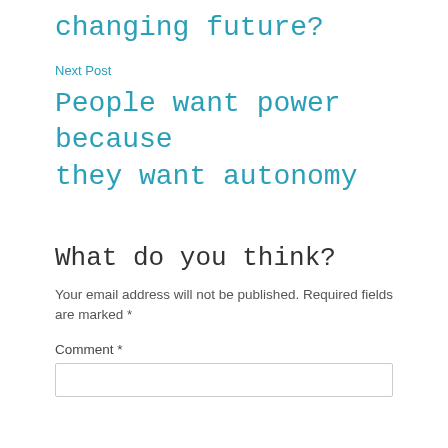changing future?
Next Post
People want power because they want autonomy
What do you think?
Your email address will not be published. Required fields are marked *
Comment *